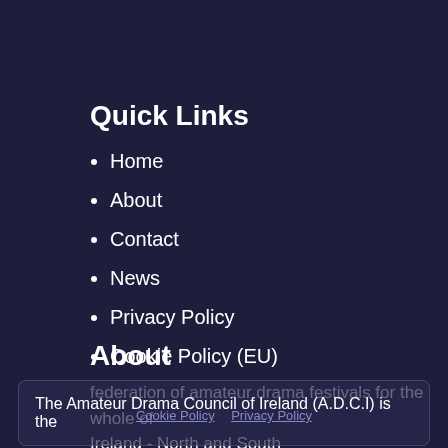Quick Links
Home
About
Contact
News
Privacy Policy
Cookie Policy (EU)
Manage Cookie Consent
We use cookies to optimise our website.
Accept
Deny
About
The Amateur Drama Council of Ireland (A.D.C.I) is the
federation of amateur drama festivals for the whole of Ireland - North and South
Cookie Policy   Privacy Policy